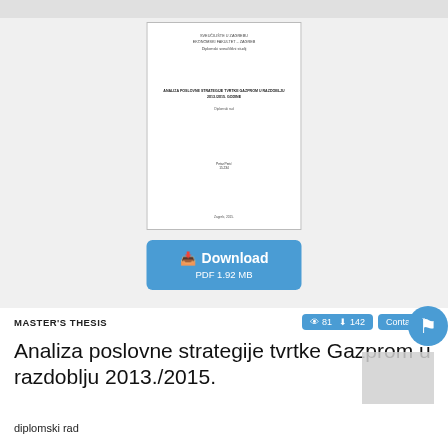[Figure (screenshot): Thumbnail preview of a document title page showing institution name, thesis title in Croatian, and author details in small blurred text]
Download
PDF 1.92 MB
MASTER'S THESIS
👁 81  ↓ 142
Contact
Analiza poslovne strategije tvrtke Gazprom u razdoblju 2013./2015.
diplomski rad